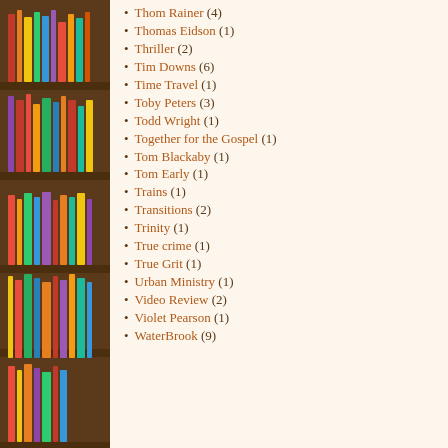[Figure (photo): Bookshelf with colorful books on wooden shelves, occupying left column]
Thom Rainer (4)
Thomas Eidson (1)
Thriller (2)
Tim Downs (6)
Time Travel (1)
Toby Peters (3)
Todd Wright (1)
Together for the Gospel (1)
Tom Blackaby (1)
Tom Early (1)
Trains (1)
Transitions (2)
Trinity (1)
True crime (1)
True Grit (1)
Urban Ministry (1)
Video Review (2)
Violet Pearson (1)
WaterBrook (9)